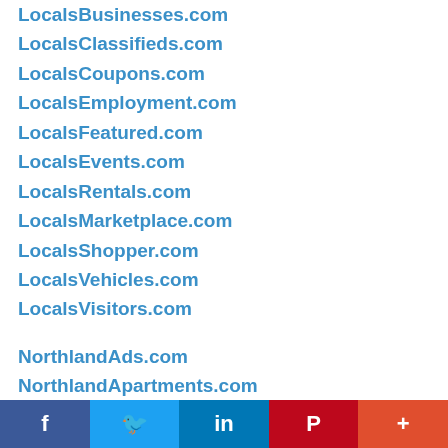LocalsBusinesses.com
LocalsClassifieds.com
LocalsCoupons.com
LocalsEmployment.com
LocalsFeatured.com
LocalsEvents.com
LocalsRentals.com
LocalsMarketplace.com
LocalsShopper.com
LocalsVehicles.com
LocalsVisitors.com
NorthlandAds.com
NorthlandApartments.com
NorthlandBusinesses.com
NorthlandClassifieds.com
NorthlandCoupons.com
[Figure (infographic): Social sharing bar with Facebook, Twitter, LinkedIn, Pinterest, and More buttons]